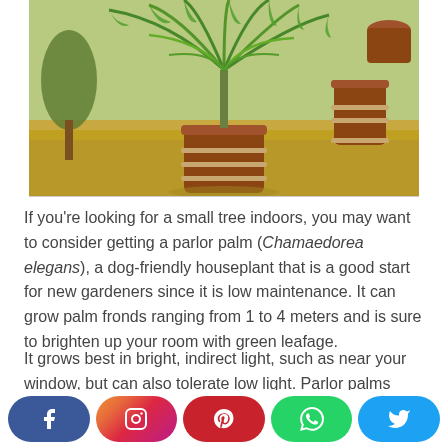[Figure (photo): A parlor palm (Chamaedorea elegans) in a large wooden barrel planter, outdoors in a garden setting with additional barrel planters in the background and trees.]
If you're looking for a small tree indoors, you may want to consider getting a parlor palm (Chamaedorea elegans), a dog-friendly houseplant that is a good start for new gardeners since it is low maintenance. It can grow palm fronds ranging from 1 to 4 meters and is sure to brighten up your room with green leafage.
It grows best in bright, indirect light, such as near your window, but can also tolerate low light. Parlor palms should only be watered when the top inch of